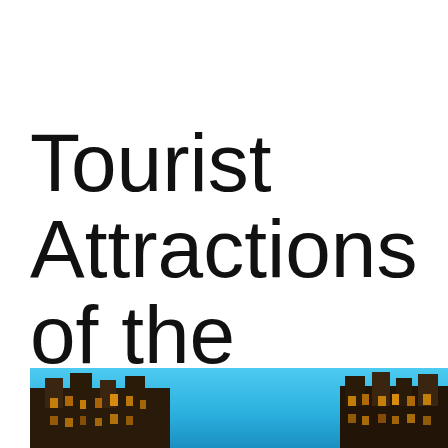Tourist Attractions of the World
[Figure (photo): Photograph of ornate historic buildings at dusk with a blue sky background, showing architectural rooftops and decorative facades lit with warm light.]